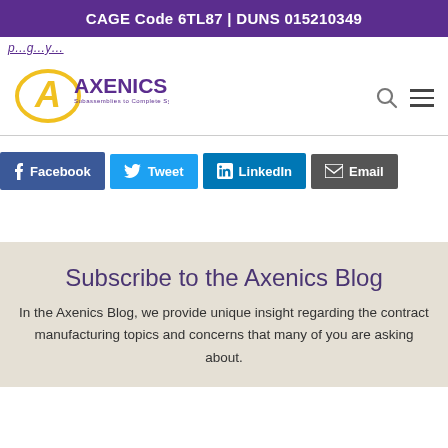CAGE Code 6TL87 | DUNS 015210349
...partial page heading text (partially visible, italic, underlined)
[Figure (logo): Axenics logo with stylized 'A' in gold/yellow and purple text reading 'AXENICS Subassemblies to Complete Systems']
Facebook
Tweet
LinkedIn
Email
Subscribe to the Axenics Blog
In the Axenics Blog, we provide unique insight regarding the contract manufacturing topics and concerns that many of you are asking about.